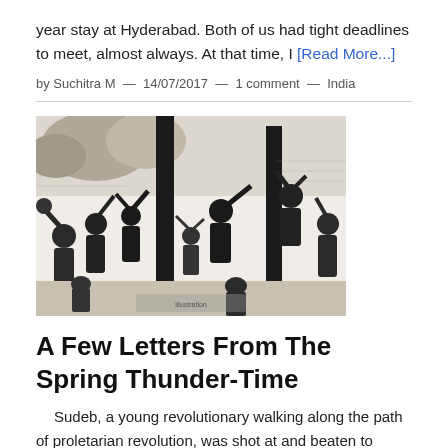year stay at Hyderabad. Both of us had tight deadlines to meet, almost always. At that time, I [Read More...]
by Suchitra M  —  14/07/2017  —  1 comment  —  India
[Figure (illustration): Black and white woodcut-style illustration of multiple figures engaged in a struggle or revolutionary scene, with people wielding tools and weapons around poles or pillars, dense figures in active poses.]
A Few Letters From The Spring Thunder-Time
Sudeb, a young revolutionary walking along the path of proletarian revolution, was shot at and beaten to death by jotedar's [owner of a large farm landholding or a de